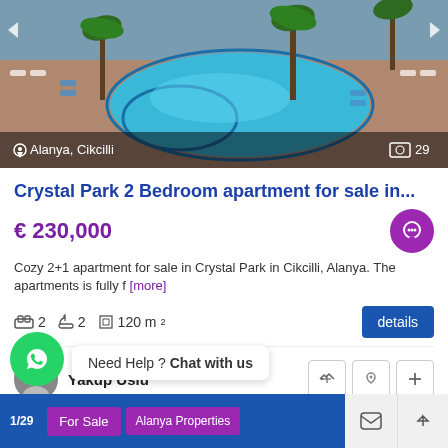[Figure (photo): Aerial view of a swimming pool complex with palm trees and sun loungers, at Crystal Park in Alanya, Cikcilli]
Crystal Park 2 Bedroom apartment for sale in...
€ 230,000
Cozy 2+1 apartment for sale in Crystal Park in Cikcilli, Alanya. The apartments is fully f [more]
2 bedrooms  2 bathrooms  120 m²
Yakup Uslu
Need Help ? Chat with us
1/29  For Sale  Alanya Properties